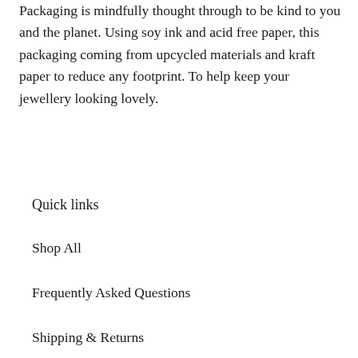Packaging is mindfully thought through to be kind to you and the planet. Using soy ink and acid free paper, this packaging coming from upcycled materials and kraft paper to reduce any footprint. To help keep your jewellery looking lovely.
Quick links
Shop All
Frequently Asked Questions
Shipping & Returns